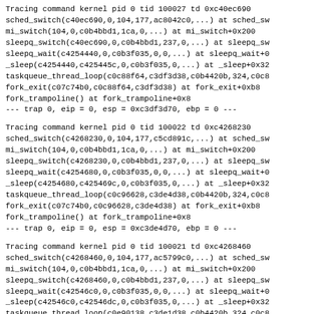Tracing command kernel pid 0 tid 100027 td 0xc40ec690
sched_switch(c40ec690,0,104,177,ac8042c0,...) at sched_sw
mi_switch(104,0,c0b4bbd1,1ca,0,...) at mi_switch+0x200
sleepq_switch(c40ec690,0,c0b4bbd1,237,0,...) at sleepq_sw
sleepq_wait(c4254440,0,c0b3f035,0,0,...) at sleepq_wait+0
_sleep(c4254440,c425445c,0,c0b3f035,0,...) at _sleep+0x32
taskqueue_thread_loop(c0c88f64,c3df3d38,c0b4420b,324,c0c8
fork_exit(c07c74b0,c0c88f64,c3df3d38) at fork_exit+0xb8
fork_trampoline() at fork_trampoline+0x8
--- trap 0, eip = 0, esp = 0xc3df3d70, ebp = 0 ---
Tracing command kernel pid 0 tid 100022 td 0xc4268230
sched_switch(c4268230,0,104,177,c5cd891c,...) at sched_sw
mi_switch(104,0,c0b4bbd1,1ca,0,...) at mi_switch+0x200
sleepq_switch(c4268230,0,c0b4bbd1,237,0,...) at sleepq_sw
sleepq_wait(c4254680,0,c0b3f035,0,0,...) at sleepq_wait+0
_sleep(c4254680,c425469c,0,c0b3f035,0,...) at _sleep+0x32
taskqueue_thread_loop(c0c96628,c3de4d38,c0b4420b,324,c0c8
fork_exit(c07c74b0,c0c96628,c3de4d38) at fork_exit+0xb8
fork_trampoline() at fork_trampoline+0x8
--- trap 0, eip = 0, esp = 0xc3de4d70, ebp = 0 ---
Tracing command kernel pid 0 tid 100021 td 0xc4268460
sched_switch(c4268460,0,104,177,ac5799c0,...) at sched_sw
mi_switch(104,0,c0b4bbd1,1ca,0,...) at mi_switch+0x200
sleepq_switch(c4268460,0,c0b4bbd1,237,0,...) at sleepq_sw
sleepq_wait(c42546c0,0,c0b3f035,0,0,...) at sleepq_wait+0
_sleep(c42546c0,c42546dc,0,c0b3f035,0,...) at _sleep+0x32
taskqueue_thread_loop(c0e90138,c3de1d38,c0b4420b,324,c0c8